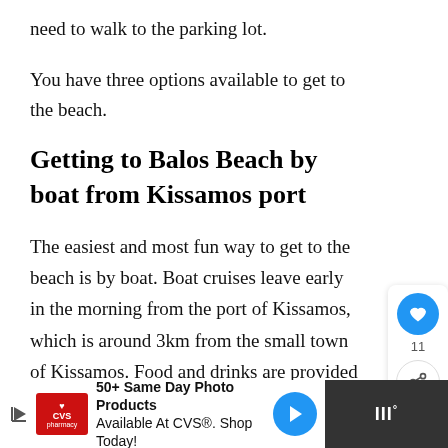need to walk to the parking lot.
You have three options available to get to the beach.
Getting to Balos Beach by boat from Kissamos port
The easiest and most fun way to get to the beach is by boat. Boat cruises leave early in the morning from the port of Kissamos, which is around 3km from the small town of Kissamos. Food and drinks are provided on the boat too.
[Figure (screenshot): Social share sidebar with heart icon (11 likes) and share button]
[Figure (screenshot): What's Next card: A Guide to Preveli Beac...]
[Figure (screenshot): Advertisement banner: CVS Pharmacy - 50+ Same Day Photo Products Available At CVS. Shop Today!]